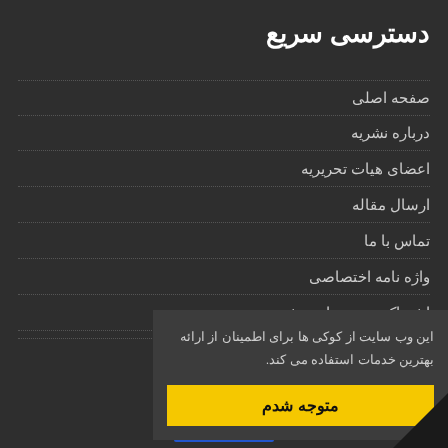دسترسی سریع
صفحه اصلی
درباره نشریه
اعضای هیات تحریریه
ارسال مقاله
تماس با ما
واژه نامه اختصاصی
اشتراک نسخه چاپی نشریه
این وب سایت از کوکی ها برای اطمینان از ارائه بهترین خدمات استفاده می کند.
متوجه شدم